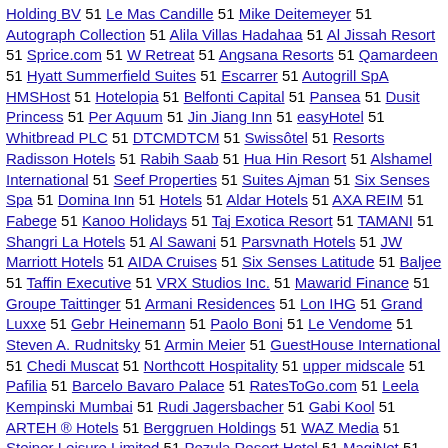Holding BV 51 Le Mas Candille 51 Mike Deitemeyer 51 Autograph Collection 51 Alila Villas Hadahaa 51 Al Jissah Resort 51 Sprice.com 51 W Retreat 51 Angsana Resorts 51 Qamardeen 51 Hyatt Summerfield Suites 51 Escarrer 51 Autogrill SpA HMSHost 51 Hotelopia 51 Belfonti Capital 51 Pansea 51 Dusit Princess 51 Per Aquum 51 Jin Jiang Inn 51 easyHotel 51 Whitbread PLC 51 DTCMDTCM 51 Swissôtel 51 Resorts Radisson Hotels 51 Rabih Saab 51 Hua Hin Resort 51 Alshamel International 51 Seef Properties 51 Suites Ajman 51 Six Senses Spa 51 Domina Inn 51 Hotels 51 Aldar Hotels 51 AXA REIM 51 Fabege 51 Kanoo Holidays 51 Taj Exotica Resort 51 TAMANI 51 Shangri La Hotels 51 Al Sawani 51 Parsvnath Hotels 51 JW Marriott Hotels 51 AIDA Cruises 51 Six Senses Latitude 51 Baljee 51 Taffin Executive 51 VRX Studios Inc. 51 Mawarid Finance 51 Groupe Taittinger 51 Armani Residences 51 Lon IHG 51 Grand Luxxe 51 Gebr Heinemann 51 Paolo Boni 51 Le Vendome 51 Steven A. Rudnitsky 51 Armin Meier 51 GuestHouse International 51 Chedi Muscat 51 Northcott Hospitality 51 upper midscale 51 Pafilia 51 Barcelo Bavaro Palace 51 RatesToGo.com 51 Leela Kempinski Mumbai 51 Rudi Jagersbacher 51 Gabi Kool 51 ARTEH ® Hotels 51 Berggruen Holdings 51 WAZ Media 51 Steiner Leisure Limited 51 Pezula Resort Hotel 51 MagiNet 51 SynCo Bio Partners 51 Mangosteen Resort 51 Advanstar Fashion 51 Frasers Hospitality Pte Ltd 51 Snasco 51 Al Fara'a Properties 51 Hotel Missoni Kuwait 51 Hotel Formule 1 51 Dominic Dato 51 Jet Airways Jet